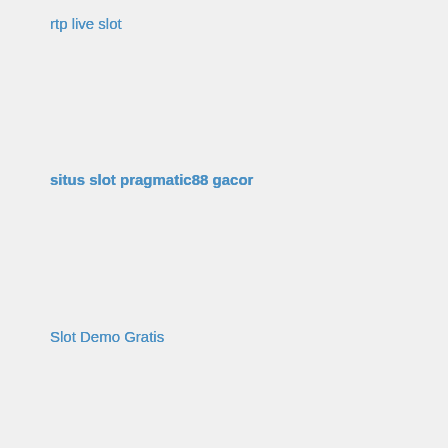rtp live slot
situs slot pragmatic88 gacor
Slot Demo Gratis
Naija News
slot online
Slot Online
situs judi slot online terpercaya